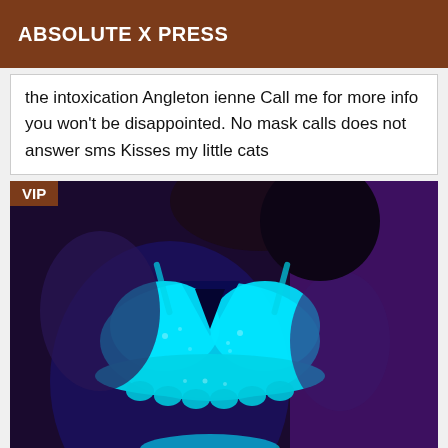ABSOLUTE X PRESS
the intoxication Angleton ienne Call me for more info you won't be disappointed. No mask calls does not answer sms Kisses my little cats
[Figure (photo): Person wearing glowing cyan/turquoise lace bralette photographed under UV/blacklight against a dark purple background. A VIP badge is overlaid in the top-left corner.]